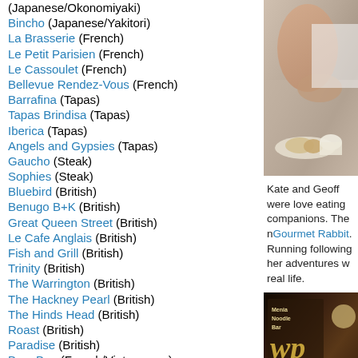(Japanese/Okonomiyaki)
Bincho (Japanese/Yakitori)
La Brasserie (French)
Le Petit Parisien (French)
Le Cassoulet (French)
Bellevue Rendez-Vous (French)
Barrafina (Tapas)
Tapas Brindisa (Tapas)
Iberica (Tapas)
Angels and Gypsies (Tapas)
Gaucho (Steak)
Sophies (Steak)
Bluebird (British)
Benugo B+K (British)
Great Queen Street (British)
Le Cafe Anglais (British)
Fish and Grill (British)
Trinity (British)
The Warrington (British)
The Hackney Pearl (British)
The Hinds Head (British)
Roast (British)
Paradise (British)
Bam Bou (French/Vietnamese)
Madsen (Scandinavian)
Mandarin Kitchen (Chinese)
[Figure (photo): Photo of food on a plate, hand/arm visible, appears to be a restaurant setting]
Kate and Geoff were love eating companions. The n Gourmet Rabbit. Running following her adventures w real life.
[Figure (photo): Photo of a dark restaurant/bar interior with menu board showing 'Menia Noodle Bar' and stylized 'wp' logo]